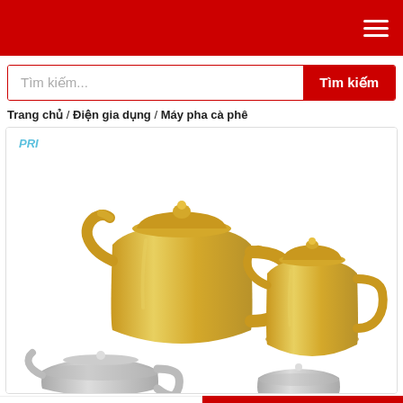Navigation header with hamburger menu
Tìm kiếm...
Trang chủ / Điện gia dụng / Máy pha cà phê
[Figure (photo): Gold-colored stainless steel tea/coffee kettles with long curved spouts, two sizes shown side by side, plus partially visible silver kettles below]
SO SÁNH GIÁ | Kiểm tra còn hàng